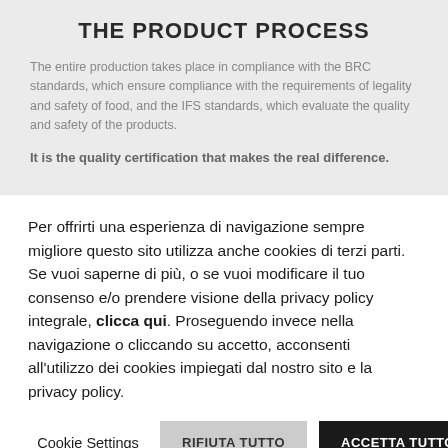THE PRODUCT PROCESS
The entire production takes place in compliance with the BRC standards, which ensure compliance with the requirements of legality and safety of food, and the IFS standards, which evaluate the quality and safety of the products.
It is the quality certification that makes the real difference.
Per offrirti una esperienza di navigazione sempre migliore questo sito utilizza anche cookies di terzi parti. Se vuoi saperne di più, o se vuoi modificare il tuo consenso e/o prendere visione della privacy policy integrale, clicca qui. Proseguendo invece nella navigazione o cliccando su accetto, acconsenti all'utilizzo dei cookies impiegati dal nostro sito e la privacy policy.
Cookie Settings
RIFIUTA TUTTO
ACCETTA TUTTO